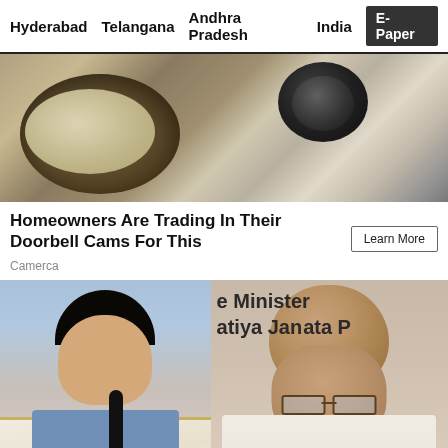Hyderabad   Telangana   Andhra Pradesh   India   E-Paper
[Figure (photo): Advertisement photo showing a bowl with food/dough and a round dark object, likely a doorbell camera ad]
Homeowners Are Trading In Their Doorbell Cams For This
Camerca
Learn More
[Figure (photo): News photo showing two politicians side by side: on the left a man in blue shirt with white shawl holding a microphone (KTR), on the right a bald man in white (Amit Shah). Background text partially visible: '...e Minister...atiya Janata P...']